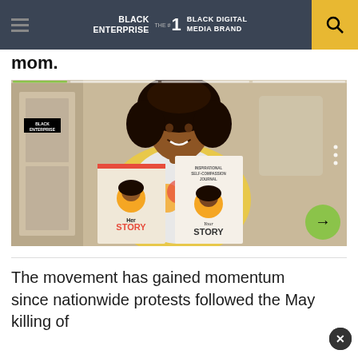BLACK ENTERPRISE — THE #1 BLACK DIGITAL MEDIA BRAND
mom.
[Figure (photo): A smiling woman with curly hair sitting in a chair, holding two books: 'Her Story' and 'Your Story — Inspirational Self-Compassion Journal'. She wears a yellow cardigan over a graphic t-shirt featuring a woman with colorful afro hair.]
The movement has gained momentum since nationwide protests followed the May killing of